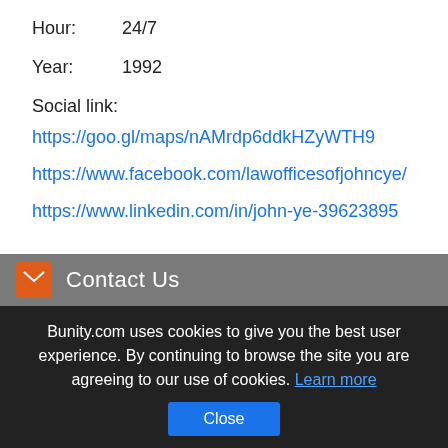Hour:   24/7
Year:   1992
Social link:
https://goo.gl/maps/nAMrdp6ddkHZyWTH9
https://www.facebook.com/lawofficesofjohncye/
https://www.linkedin.com/in/john-ye-39623895
Contact Us
Bunity.com uses cookies to give you the best user experience. By continuing to browse the site you are agreeing to our use of cookies. Learn more
Close